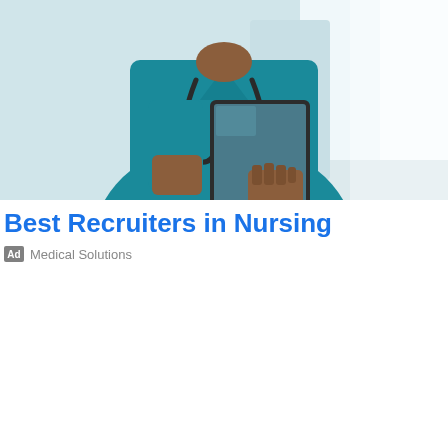[Figure (photo): A nurse in teal scrubs with a stethoscope, holding a tablet device, photographed from the neck/chest area down, in a bright clinical hallway setting.]
Best Recruiters in Nursing
Ad  Medical Solutions